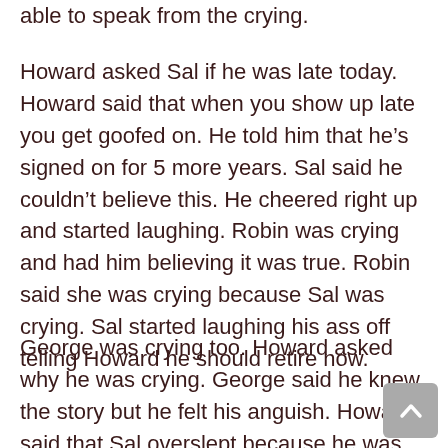able to speak from the crying.
Howard asked Sal if he was late today. Howard said that when you show up late you get goofed on. He told him that he's signed on for 5 more years. Sal said he couldn't believe this. He cheered right up and started laughing. Robin was crying and had him believing it was true. Robin said she was crying because Sal was crying. Sal started laughing his ass off telling Howard he should retire now.
George was crying too. Howard asked why he was crying. George said he knew the story but he felt his anguish. Howard said that Sal overslept because he was out drinking with Richard last night. Howard said he had to goof on him.